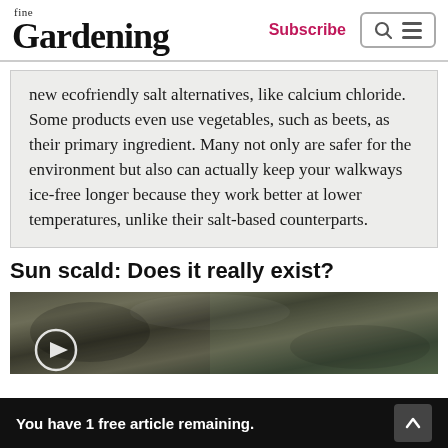fine Gardening | Subscribe
new ecofriendly salt alternatives, like calcium chloride. Some products even use vegetables, such as beets, as their primary ingredient. Many not only are safer for the environment but also can actually keep your walkways ice-free longer because they work better at lower temperatures, unlike their salt-based counterparts.
Sun scald: Does it really exist?
[Figure (photo): Close-up photo of tree bark texture with dark and mottled surface, partial view of a play/video button overlay in lower left]
You have 1 free article remaining.